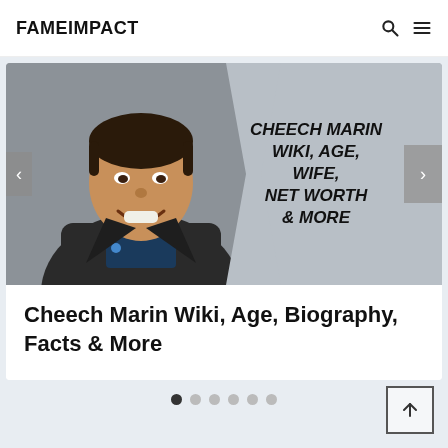FAMEIMPACT
[Figure (photo): Slider card showing Cheech Marin photo on left with bold italic text overlay reading CHEECH MARIN WIKI, AGE, WIFE, NET WORTH & MORE on the right side, with left/right navigation arrows]
Cheech Marin Wiki, Age, Biography, Facts & More